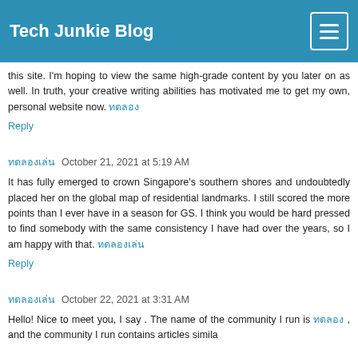Tech Junkie Blog
this site. I'm hoping to view the same high-grade content by you later on as well. In truth, your creative writing abilities has motivated me to get my own, personal website now. ทดลอง
Reply
ทดลองเล่น  October 21, 2021 at 5:19 AM
It has fully emerged to crown Singapore’s southern shores and undoubtedly placed her on the global map of residential landmarks. I still scored the more points than I ever have in a season for GS. I think you would be hard pressed to find somebody with the same consistency I have had over the years, so I am happy with that. ทดลองเล่น
Reply
ทดลองเล่น  October 22, 2021 at 3:31 AM
Hello! Nice to meet you, I say . The name of the community I run is ทดลอง , and the community I run contains articles similar